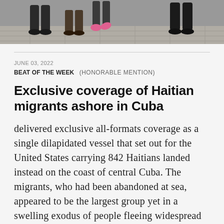[Figure (photo): Cropped photo showing feet and legs of people walking on a cobblestone surface, with a child in pink shoes visible.]
JUNE 03, 2022
BEAT OF THE WEEK   (HONORABLE MENTION)
Exclusive coverage of Haitian migrants ashore in Cuba
delivered exclusive all-formats coverage as a single dilapidated vessel that set out for the United States carrying 842 Haitians landed instead on the coast of central Cuba. The migrants, who had been abandoned at sea, appeared to be the largest group yet in a swelling exodus of people fleeing widespread gang violence